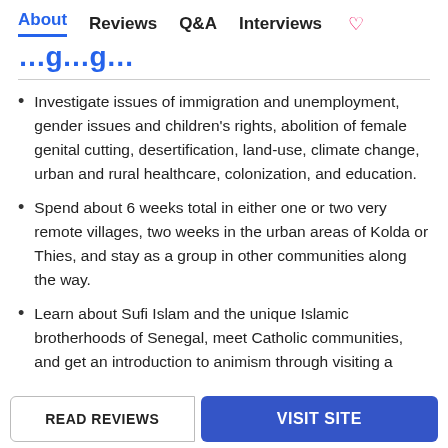About  Reviews  Q&A  Interviews
…g…g…g…
Investigate issues of immigration and unemployment, gender issues and children's rights, abolition of female genital cutting, desertification, land-use, climate change, urban and rural healthcare, colonization, and education.
Spend about 6 weeks total in either one or two very remote villages, two weeks in the urban areas of Kolda or Thies, and stay as a group in other communities along the way.
Learn about Sufi Islam and the unique Islamic brotherhoods of Senegal, meet Catholic communities, and get an introduction to animism through visiting a
READ REVIEWS
VISIT SITE